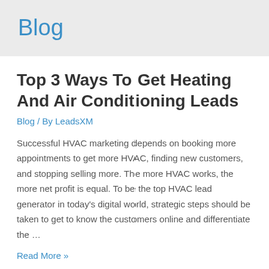Blog
Top 3 Ways To Get Heating And Air Conditioning Leads
Blog / By LeadsXM
Successful HVAC marketing depends on booking more appointments to get more HVAC, finding new customers, and stopping selling more. The more HVAC works, the more net profit is equal. To be the top HVAC lead generator in today's digital world, strategic steps should be taken to get to know the customers online and differentiate the …
Read More »